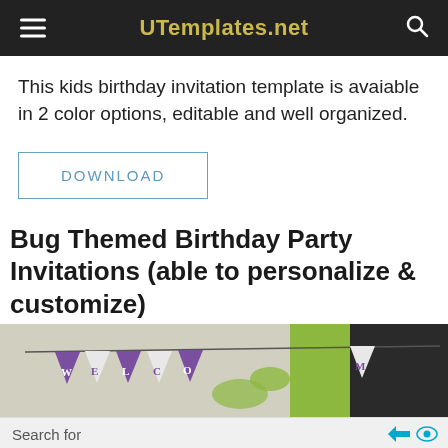UTemplates.net
This kids birthday invitation template is avaiable in 2 color options, editable and well organized.
DOWNLOAD
Bug Themed Birthday Party Invitations (able to personalize & customize)
[Figure (photo): Bug themed birthday party invitation banner with purple and white pennant flags spelling WELCOME on a green and grey background]
Search for
1.  Free Birthday eCards